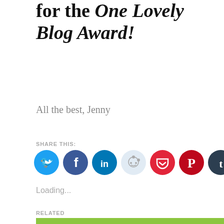for the One Lovely Blog Award!
All the best, Jenny
SHARE THIS:
[Figure (other): Row of social media sharing icon buttons: Twitter (cyan), Facebook (blue), LinkedIn (dark blue), Reddit (light blue-grey), Pocket (red), Pinterest (dark red), Tumblr (dark navy), Email (grey), Print (light grey)]
Loading...
RELATED
[Figure (photo): Green background image with cursive handwriting text partially visible, showing 'the.' in large cursive letters]